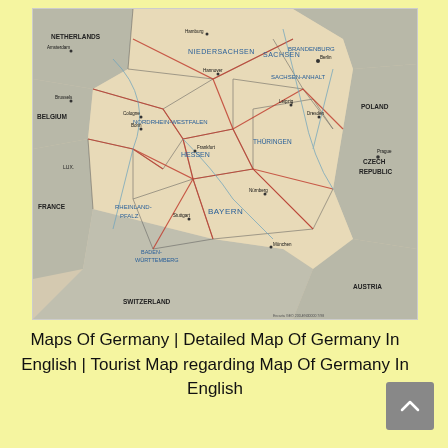[Figure (map): Detailed political/road map of Germany in English, showing German states (Bundesländer) including NIEDERSACHSEN, NORDRHEIN-WESTFALEN, HESSEN, RHEINLAND-PFALZ, Baden-WÜRTTEMBERG, BAYERN, THÜRINGEN, SACHSEN, SACHSEN-ANHALT, BRANDENBURG, etc. Surrounding countries labeled: NETHERLANDS, BELGIUM, FRANCE, SWITZERLAND, AUSTRIA, CZECH REPUBLIC, POLAND, LUX (Luxembourg). Cities, roads, and rivers are shown. Map uses beige/tan coloring for Germany and gray for neighboring countries.]
Maps Of Germany | Detailed Map Of Germany In English | Tourist Map regarding Map Of Germany In English